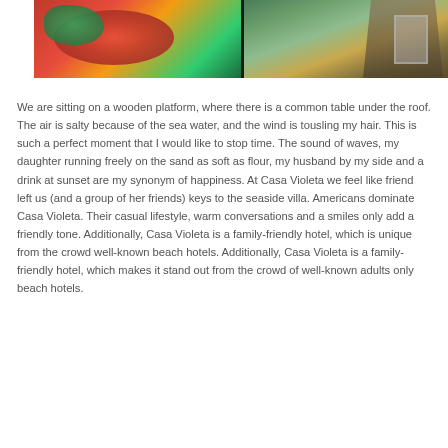[Figure (photo): Two photos side by side: left shows food (tomatoes, mozzarella with herbs on dark background), right shows a thatched-roof tropical villa/bungalow with wooden window frame and tropical foliage.]
We are sitting on a wooden platform, where there is a common table under the roof. The air is salty because of the sea water, and the wind is tousling my hair. This is such a perfect moment that I would like to stop time. The sound of waves, my daughter running freely on the sand as soft as flour, my husband by my side and a drink at sunset are my synonym of happiness. At Casa Violeta we feel like friend left us (and a group of her friends) keys to the seaside villa. Americans dominate Casa Violeta. Their casual lifestyle, warm conversations and a smiles only add a friendly tone. Additionally, Casa Violeta is a family-friendly hotel, which is unique from the crowd well-known beach hotels. Additionally, Casa Violeta is a family-friendly hotel, which makes it stand out from the crowd of well-known adults only beach hotels.